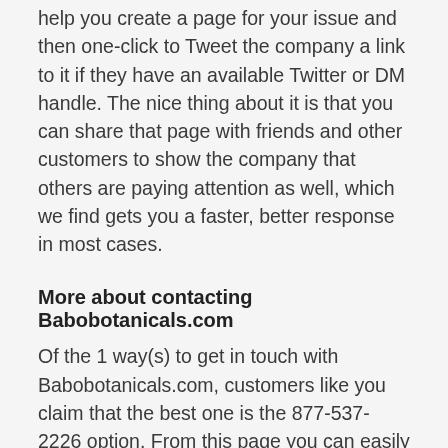help you create a page for your issue and then one-click to Tweet the company a link to it if they have an available Twitter or DM handle. The nice thing about it is that you can share that page with friends and other customers to show the company that others are paying attention as well, which we find gets you a faster, better response in most cases.
More about contacting Babobotanicals.com
Of the 1 way(s) to get in touch with Babobotanicals.com, customers like you claim that the best one is the 877-537-2226 option. From this page you can easily access all the possible contact information options for Babobotanicals.com as well as read up on common problems that other customers are having, find out how to fix the most